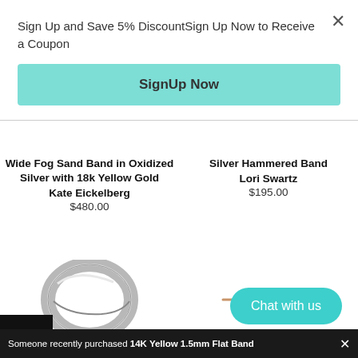Sign Up and Save 5% DiscountSign Up Now to Receive a Coupon
SignUp Now
Wide Fog Sand Band in Oxidized Silver with 18k Yellow Gold
Kate Eickelberg
$480.00
Silver Hammered Band
Lori Swartz
$195.00
[Figure (photo): Silver hammered ring band viewed from above at an angle]
[Figure (illustration): Gold chain/links detail, small horizontal dashes]
Chat with us
Someone recently purchased 14K Yellow 1.5mm Flat Band